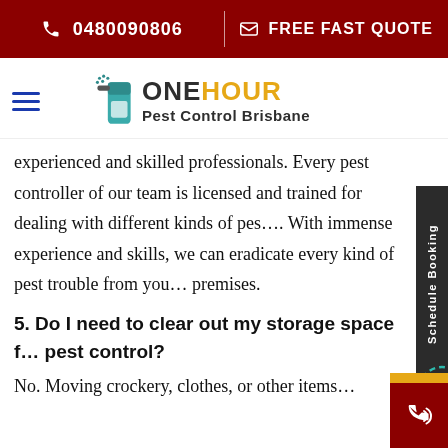📞 0480090806  |  ✉ FREE FAST QUOTE
[Figure (logo): One Hour Pest Control Brisbane logo with hamburger menu and spray can icon]
experienced and skilled professionals. Every pest controller of our team is licensed and trained for dealing with different kinds of pest. With immense experience and skills, we can eradicate every kind of pest trouble from your premises.
5. Do I need to clear out my storage space for pest control?
No. Moving crockery, clothes, or other items